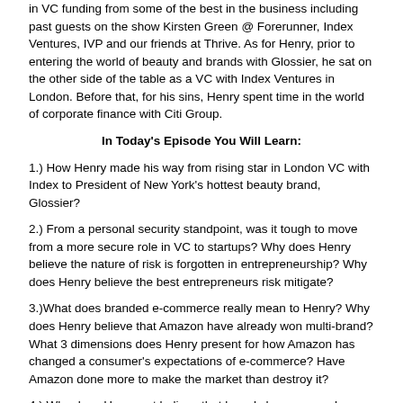in VC funding from some of the best in the business including past guests on the show Kirsten Green @ Forerunner, Index Ventures, IVP and our friends at Thrive. As for Henry, prior to entering the world of beauty and brands with Glossier, he sat on the other side of the table as a VC with Index Ventures in London. Before that, for his sins, Henry spent time in the world of corporate finance with Citi Group.
In Today's Episode You Will Learn:
1.) How Henry made his way from rising star in London VC with Index to President of New York's hottest beauty brand, Glossier?
2.) From a personal security standpoint, was it tough to move from a more secure role in VC to startups? Why does Henry believe the nature of risk is forgotten in entrepreneurship? Why does Henry believe the best entrepreneurs risk mitigate?
3.)What does branded e-commerce really mean to Henry? Why does Henry believe that Amazon have already won multi-brand? What 3 dimensions does Henry present for how Amazon has changed a consumer's expectations of e-commerce? Have Amazon done more to make the market than destroy it?
4.) Why does Henry not believe that brands have as much brand loyalty as they think they do? With that in mind and many recent acquisitions, is this not a market of consolidation? Why are acquisitions cheap for incumbents today? How does this compare to the supply of capital available to startups, ultimately, altering their willingness?